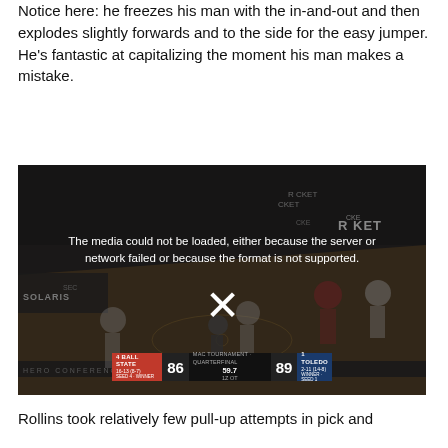Notice here: he freezes his man with the in-and-out and then explodes slightly forwards and to the side for the easy jumper. He’s fantastic at capitalizing the moment his man makes a mistake.
[Figure (screenshot): Basketball game video player showing an error message: 'The media could not be loaded, either because the server or network failed or because the format is not supported.' with an X close button. The video background shows a basketball court (Rocket Mortgage Arena). Scorebug at bottom shows BALL STATE 86 vs TOLEDO 89, MAC Tournament Quarterfinal.]
Rollins took relatively few pull-up attempts in pick and